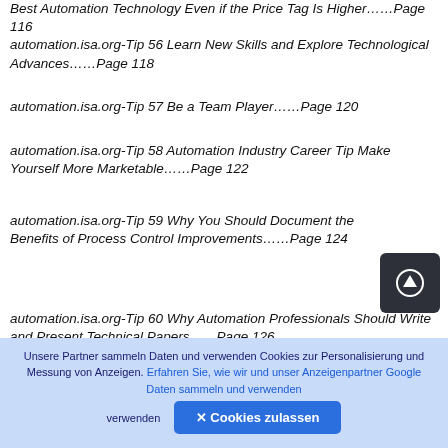automation.isa.org-Tip 56 Learn New Skills and Explore Technological Advances......Page 118
automation.isa.org-Tip 57 Be a Team Player......Page 120
automation.isa.org-Tip 58 Automation Industry Career Tip Make Yourself More Marketable......Page 122
automation.isa.org-Tip 59 Why You Should Document the Benefits of Process Control Improvements......Page 124
automation.isa.org-Tip 60 Why Automation Professionals Should Write and Present Technical Papers......Page 126
[Figure (other): Navigation icon - dark rounded square with a circle-up arrow symbol]
Unsere Partner sammeln Daten und verwenden Cookies zur Personalisierung und Messung von Anzeigen. Erfahren Sie, wie wir und unser Anzeigenpartner Google Daten sammeln und verwenden
✕ Cookies zulassen